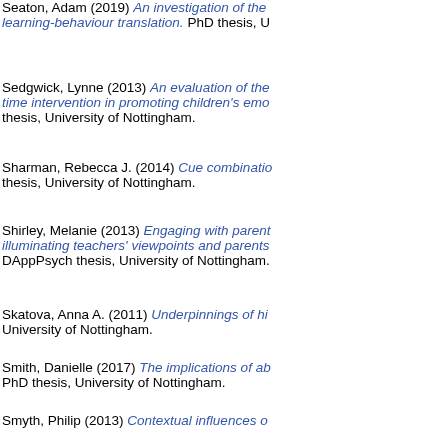Seaton, Adam (2019) An investigation of the learning-behaviour translation. PhD thesis, U
Sedgwick, Lynne (2013) An evaluation of the time intervention in promoting children's emo thesis, University of Nottingham.
Sharman, Rebecca J. (2014) Cue combinatio thesis, University of Nottingham.
Shirley, Melanie (2013) Engaging with parent illuminating teachers' viewpoints and parents DAppPsych thesis, University of Nottingham.
Skatova, Anna A. (2011) Underpinnings of hi University of Nottingham.
Smith, Danielle (2017) The implications of ab PhD thesis, University of Nottingham.
Smyth, Philip (2013) Contextual influences o case of a legal research and writing (LRW) c Nottingham.
Southall, Laura (2014) Using realistic evaluat 14-16 with special educational needs. DAppB
Spence, Alexa (2006) Attitudes and behavi